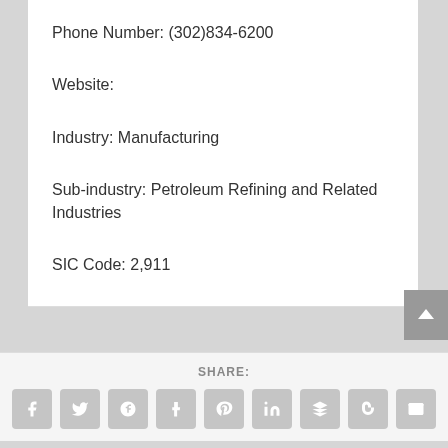Phone Number: (302)834-6200
Website:
Industry: Manufacturing
Sub-industry: Petroleum Refining and Related Industries
SIC Code: 2,911
SHARE: